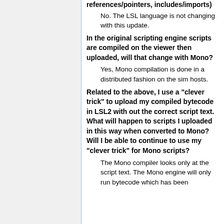references/pointers, includes/imports)
No. The LSL language is not changing with this update.
In the original scripting engine scripts are compiled on the viewer then uploaded, will that change with Mono?
Yes, Mono compilation is done in a distributed fashion on the sim hosts.
Related to the above, I use a "clever trick" to upload my compiled bytecode in LSL2 with out the correct script text. What will happen to scripts I uploaded in this way when converted to Mono? Will I be able to continue to use my "clever trick" for Mono scripts?
The Mono compiler looks only at the script text. The Mono engine will only run bytecode which has been...